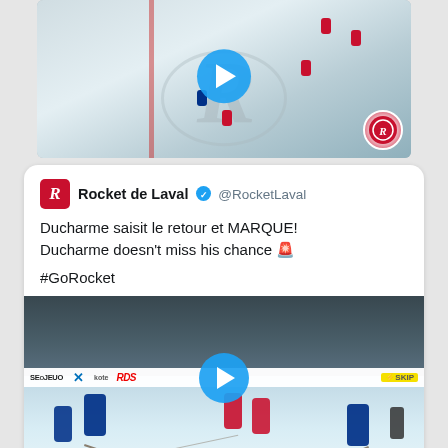[Figure (screenshot): Hockey ice rink aerial video thumbnail with large R logo on ice, hockey players in red and blue uniforms, a play button overlay, and a small circular team badge in the bottom right corner.]
Rocket de Laval @RocketLaval
Ducharme saisit le retour et MARQUE! Ducharme doesn't miss his chance 🚨

#GoRocket
[Figure (screenshot): Hockey arena ice-level video thumbnail with players in blue and red uniforms on the ice, arena boards with sponsors (SEOJEU, X, RDS, SKIP), a referee visible, and a play button overlay in the center.]